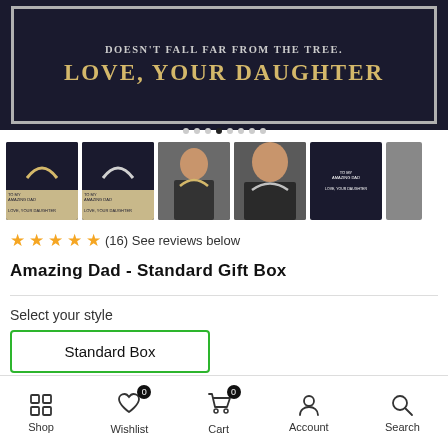[Figure (photo): Product main image of a dark navy gift box with gold text reading 'DOESN'T FALL FAR FROM THE TREE. LOVE, YOUR DAUGHTER']
[Figure (photo): Row of 6 thumbnail product images showing gift box and man wearing necklace]
★★★★★ (16) See reviews below
Amazing Dad - Standard Gift Box
Select your style
Standard Box
Shop | Wishlist 0 | Cart 0 | Account | Search